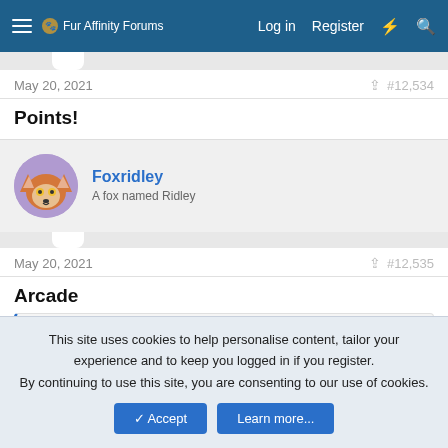Fur Affinity Forums  Log in  Register
May 20, 2021  #12,534
Points!
Foxridley
A fox named Ridley
May 20, 2021  #12,535
Arcade
❤ Fcomega121
This site uses cookies to help personalise content, tailor your experience and to keep you logged in if you register.
By continuing to use this site, you are consenting to our use of cookies.
✓ Accept  Learn more...